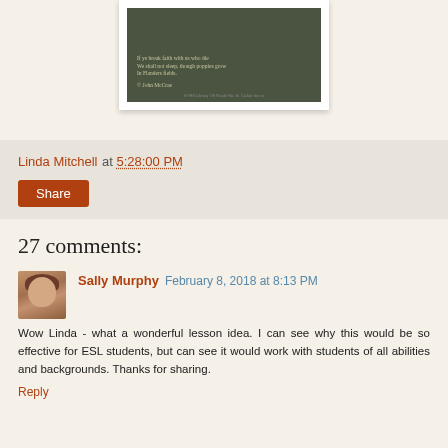[Figure (illustration): Partial view of a poem/book page with dark green background showing text from In Flanders Fields by John McCrae, framed with white border]
Linda Mitchell at 5:28:00 PM
Share
27 comments:
Sally Murphy  February 8, 2018 at 8:13 PM
Wow Linda - what a wonderful lesson idea. I can see why this would be so effective for ESL students, but can see it would work with students of all abilities and backgrounds. Thanks for sharing.
Reply